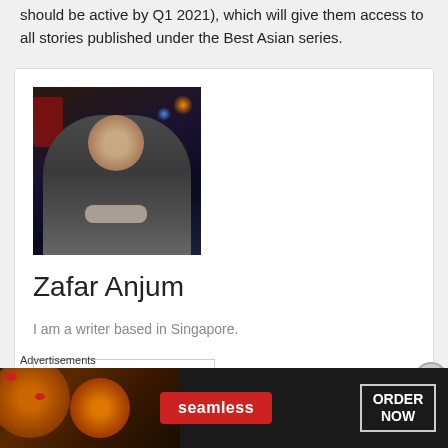should be active by Q1 2021), which will give them access to all stories published under the Best Asian series.
[Figure (photo): Author photo of Zafar Anjum, a man in a dark polo shirt seated with arms crossed in a bar or restaurant setting with colorful lighting]
Zafar Anjum
I am a writer based in Singapore.
See author's posts
Advertisements
[Figure (photo): Advertisement banner for Seamless food delivery showing pizza slices with 'seamless' brand name and 'ORDER NOW' call to action]